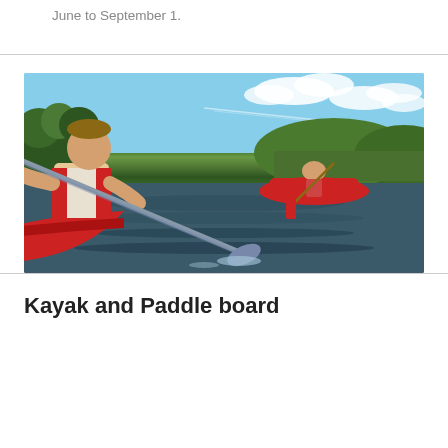June to September 1.
[Figure (photo): Two people paddling red canoes on a river with green trees and blue sky in the background. The foreground shows a muscular man in a red life vest paddling, and a woman in the background also paddling a red canoe.]
Kayak and Paddle board